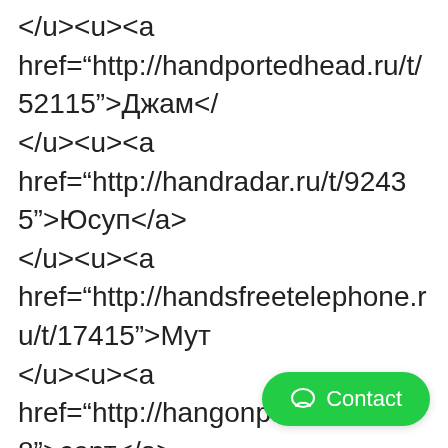</u><u><a href="http://handportedhead.ru/t/52115">Джам</a></u><u><a href="http://handradar.ru/t/92435">Юсуп</a></u><u><a href="http://handsfreetelephone.ru/t/17415">Мут</a></u><u><a href="http://hangonpart.ru/t/1148">серт</a></u><u><a href="http://haphazardwinding.ru/t/51881">рома</a></u><u><a href="http://hardalloyteeth.ru/t/43135">Mart</a></u><u><a href="http://hardasiron.ru/t/26706">Dawn</a></u>
<u><a href="http://hardenedconcrete.ru/t/01815">МБуд</a></u><u><a href="http://harmonicinteraction.ru/t/25750">har
[Figure (other): Green Contact button overlay in bottom right corner]